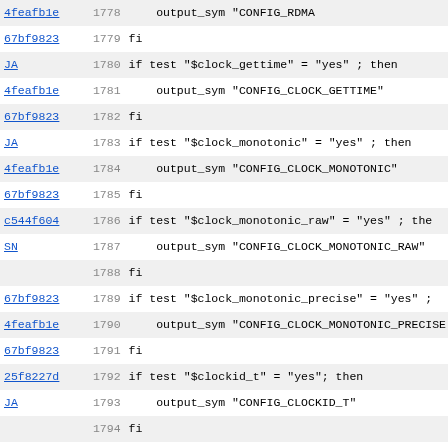Source code diff/blame view showing lines 1778-1810 of a shell configure script with git commit hashes, line numbers, and shell code for feature detection (clock_gettime, clock_monotonic, posix_fadvise, linux affinity, strsep, strcasestr, etc.)